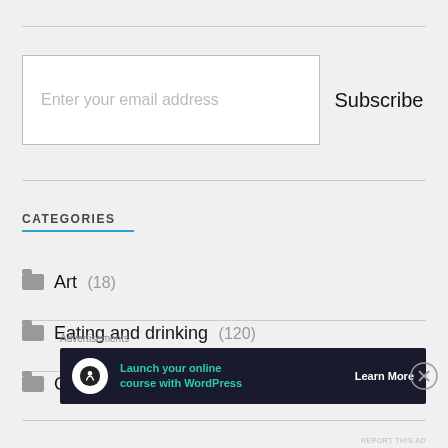Enter your email address
Subscribe
CATEGORIES
Art (18)
Eating and drinking (120)
Gaming (81)
[Figure (screenshot): Advertisement banner: Launch your online course with WordPress — Learn More button]
Advertisements
REPORT THIS AD